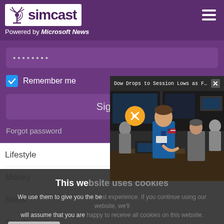[Figure (screenshot): Simcast logo with antenna icon on white background, purple header bar with hamburger menu]
Powered by Microsoft News
[Figure (screenshot): Password input field with dots, Remember me checkbox, Sign-in button, Forgot password link on purple background]
[Figure (screenshot): News popup overlay: 'Dow Drops to Session Lows as Fed Chai...' with X close button and stock exchange photo with mute button]
[Figure (screenshot): Cookie consent overlay: 'This we...' title, cookie usage text, Continue button]
Lifestyle
Money
News
Sports